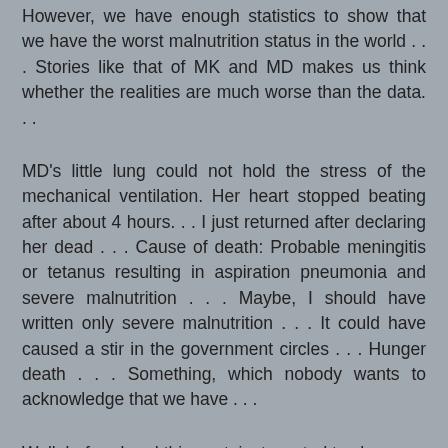However, we have enough statistics to show that we have the worst malnutrition status in the world . . . Stories like that of MK and MD makes us think whether the realities are much worse than the data. . .
MD's little lung could not hold the stress of the mechanical ventilation. Her heart stopped beating after about 4 hours. . . I just returned after declaring her dead . . . Cause of death: Probable meningitis or tetanus resulting in aspiration pneumonia and severe malnutrition . . . Maybe, I should have written only severe malnutrition . . . It could have caused a stir in the government circles . . . Hunger death . . . Something, which nobody wants to acknowledge that we have . . .
Well, before I end this post, just wanted to share a